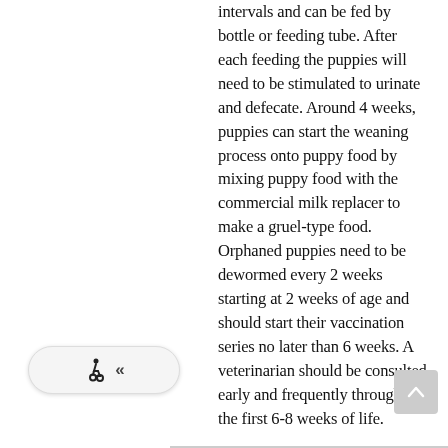intervals and can be fed by bottle or feeding tube. After each feeding the puppies will need to be stimulated to urinate and defecate. Around 4 weeks, puppies can start the weaning process onto puppy food by mixing puppy food with the commercial milk replacer to make a gruel-type food. Orphaned puppies need to be dewormed every 2 weeks starting at 2 weeks of age and should start their vaccination series no later than 6 weeks. A veterinarian should be consulted early and frequently throughout the first 6-8 weeks of life.
[Figure (other): Accessibility widget with wheelchair icon and double left chevron, and a scroll-to-top button on the bottom right]